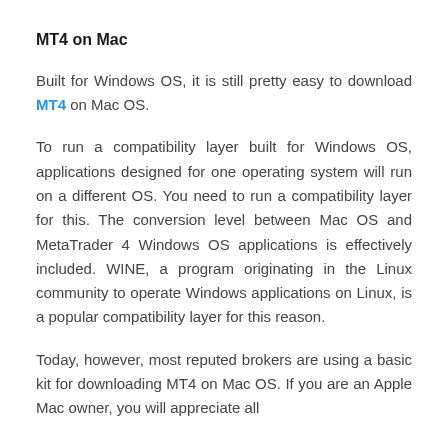MT4 on Mac
Built for Windows OS, it is still pretty easy to download MT4 on Mac OS.
To run a compatibility layer built for Windows OS, applications designed for one operating system will run on a different OS. You need to run a compatibility layer for this. The conversion level between Mac OS and MetaTrader 4 Windows OS applications is effectively included. WINE, a program originating in the Linux community to operate Windows applications on Linux, is a popular compatibility layer for this reason.
Today, however, most reputed brokers are using a basic kit for downloading MT4 on Mac OS. If you are an Apple Mac owner, you will appreciate all